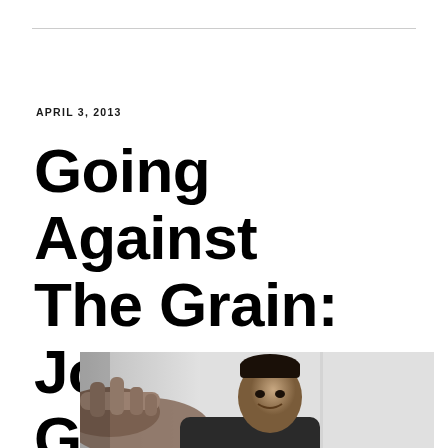APRIL 3, 2013
Going Against The Grain: Joey Guila
[Figure (photo): Black and white photo of Joey Guila, a man pointing toward the camera with one hand while smiling, shown from roughly chest up against a light background.]